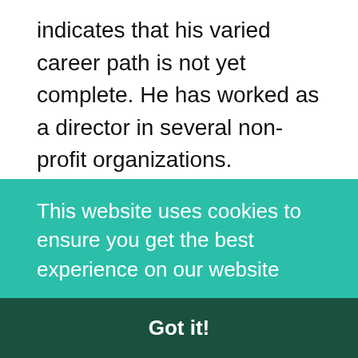indicates that his varied career path is not yet complete. He has worked as a director in several non-profit organizations.
David Gergen Net costs
In financial terms, David Gergen is estimated at $8 million.
David Gergen Body measurements
This website uses cookies to ensure you get the best experience on our website
Got it!